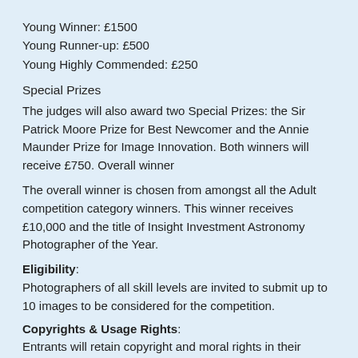Young Winner: £1500
Young Runner-up: £500
Young Highly Commended: £250
Special Prizes
The judges will also award two Special Prizes: the Sir Patrick Moore Prize for Best Newcomer and the Annie Maunder Prize for Image Innovation. Both winners will receive £750. Overall winner
The overall winner is chosen from amongst all the Adult competition category winners. This winner receives £10,000 and the title of Insight Investment Astronomy Photographer of the Year.
Eligibility: Photographers of all skill levels are invited to submit up to 10 images to be considered for the competition.
Copyrights & Usage Rights: Entrants will retain copyright and moral rights in their submitted images and will therefore retain the rights to sell their images or grant licences to other parties. In all instances, the copyright holder will be credited, wherever practicable, when the image is used and published by RMG and its